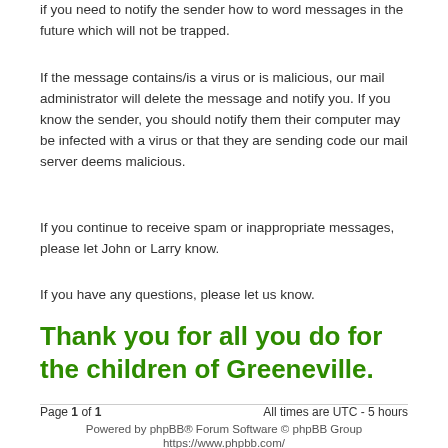if you need to notify the sender how to word messages in the future which will not be trapped.
If the message contains/is a virus or is malicious, our mail administrator will delete the message and notify you. If you know the sender, you should notify them their computer may be infected with a virus or that they are sending code our mail server deems malicious.
If you continue to receive spam or inappropriate messages, please let John or Larry know.
If you have any questions, please let us know.
Thank you for all you do for the children of Greeneville.
Page 1 of 1    All times are UTC - 5 hours
Powered by phpBB® Forum Software © phpBB Group
https://www.phpbb.com/